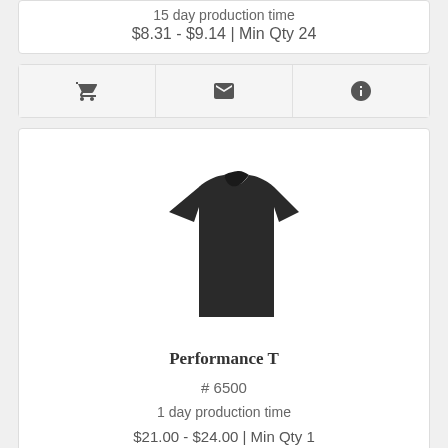15 day production time
$8.31 - $9.14 | Min Qty 24
[Figure (other): Row of three icon buttons: shopping cart, envelope/email, info circle]
[Figure (photo): Black t-shirt product photo on white background]
Performance T
# 6500
1 day production time
$21.00 - $24.00 | Min Qty 1
[Figure (other): Row of three icon buttons at bottom of card: shopping cart, envelope/email, info circle (partially visible)]